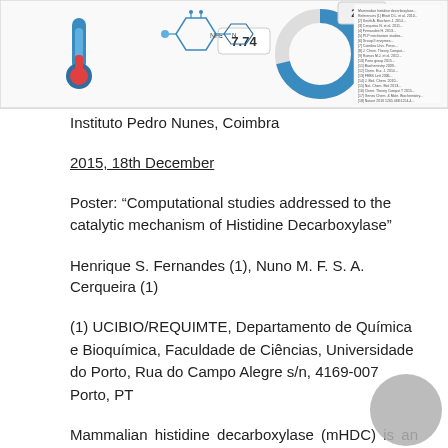[Figure (infographic): Top banner showing a partial infographic with thermometer icon, value 7.74, donut chart with value 22.6, molecular structure diagram, and a dense text/reference column on the right side.]
Instituto Pedro Nunes, Coimbra
2015, 18th December
Poster: “Computational studies addressed to the catalytic mechanism of Histidine Decarboxylase”
Henrique S. Fernandes (1), Nuno M. F. S. A. Cerqueira (1)
(1) UCIBIO/REQUIMTE, Departamento de Química e Bioquímica, Faculdade de Ciências, Universidade do Porto, Rua do Campo Alegre s/n, 4169-007 Porto, PT
Mammalian histidine decarboxylase (mHDC) is an enzyme that requires pyridoxal-5’-phosphate (PLP) as a cofactor [1]. mHDC belongs to the group II of PLP-dependent